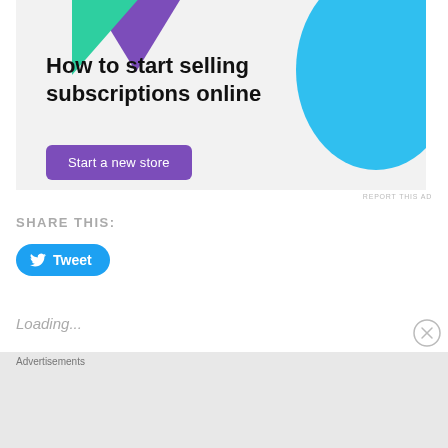[Figure (illustration): Advertisement banner for selling subscriptions online. Light gray background with purple and green triangles top-left, blue circular shape top-right. Text reads 'How to start selling subscriptions online' with a purple 'Start a new store' button.]
REPORT THIS AD
SHARE THIS:
[Figure (other): Blue Tweet button with Twitter bird icon and 'Tweet' text]
Loading...
Advertisements
[Figure (illustration): DuckDuckGo advertisement on orange/red background. Text: 'Search, browse, and email with more privacy. All in One Free App'. Shows a phone with DuckDuckGo logo and 'DuckDuckGo.' text.]